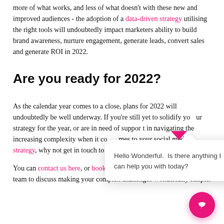more of what works, and less of what doesn't with these new and improved audiences - the adoption of a data-driven strategy utilising the right tools will undoubtedly impact marketers ability to build brand awareness, nurture engagement, generate leads, convert sales and generate ROI in 2022.
Are you ready for 2022?
As the calendar year comes to a close, plans for 2022 will undoubtedly be well underway. If you're still yet to solidify your strategy for the year, or are in need of support in navigating the increasing complexity when it comes to your social media strategy, why not get in touch to see how we can help?
You can contact us here, or book an intro call with a member of our team to discuss making your complex challenges wonderfully simple.
[Figure (screenshot): Chat popup overlay with message 'Hello Wonderful. Is there anything I can help you with today?' with a close button, a downward pointing pink triangle pointer, and a pink circular chat button in the bottom right corner.]